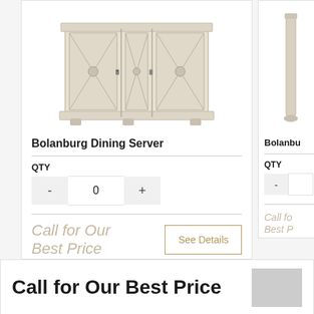[Figure (photo): Bolanburg Dining Server - a white/antique wood cabinet with decorative cross-hatch door panels]
Bolanburg Dining Server
QTY
- 0 +
Call for Our Best Price
See Details
[Figure (photo): Bolanburg dining table/chair partial view, cropped on right side]
Bolanbu
QTY
Call fo Best P
Call for Our Best Price